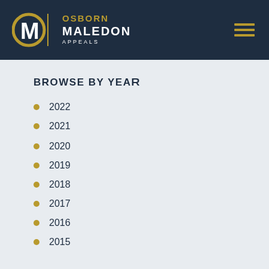Osborn Maledon Appeals
BROWSE BY YEAR
2022
2021
2020
2019
2018
2017
2016
2015